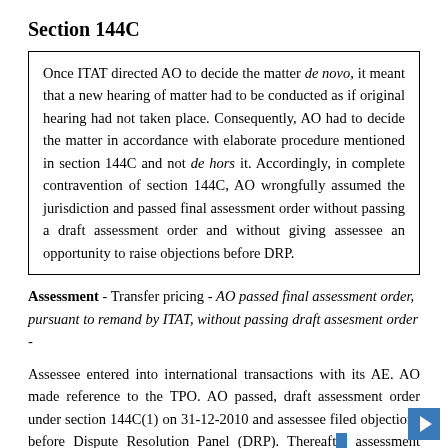Section 144C
Once ITAT directed AO to decide the matter de novo, it meant that a new hearing of matter had to be conducted as if original hearing had not taken place. Consequently, AO had to decide the matter in accordance with elaborate procedure mentioned in section 144C and not de hors it. Accordingly, in complete contravention of section 144C, AO wrongfully assumed the jurisdiction and passed final assessment order without passing a draft assessment order and without giving assessee an opportunity to raise objections before DRP.
Assessment - Transfer pricing - AO passed final assessment order, pursuant to remand by ITAT, without passing draft assesment order -
Assessee entered into international transactions with its AE. AO made reference to the TPO. AO passed, draft assessment order under section 144C(1) on 31-12-2010 and assessee filed objections before Dispute Resolution Panel (DRP). Thereafter assessment under section 143(3)/144 Completed in pursuance